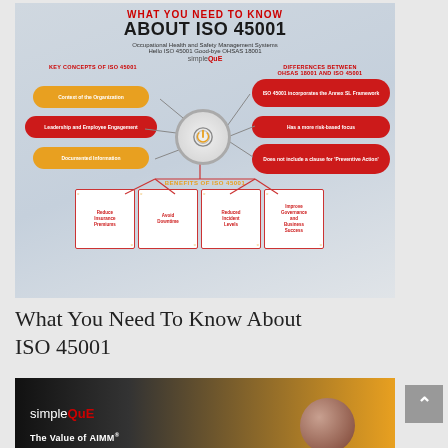[Figure (infographic): Infographic titled 'What You Need To Know About ISO 45001' showing key concepts of ISO 45001 (Context of the Organization, Leadership and Employee Engagement, Documented Information) connected to a central power button icon, and differences between OHSAS 18001 and ISO 45001 (ISO 45001 incorporates the Annex SL Framework, Has a more risk-based focus, Does not include a clause for 'Preventive Action'). Below the center shows Benefits of ISO 45001: Reduce Insurance Premiums, Avoid Downtime, Reduced Incident Levels, Improve Governance and Business Success. Branded with simpleQuE logo.]
What You Need To Know About ISO 45001
[Figure (infographic): Bottom portion of a simpleQuE branded card showing 'The Value of AIMM' with a dark background, orange gradient, and a brown ball/helmet image on the right.]